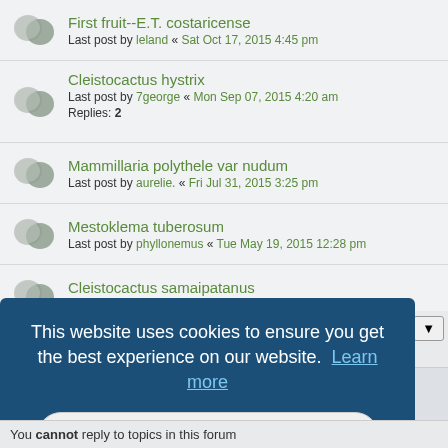First fruit--E.T. costaricense
Last post by leland « Sat Oct 17, 2015 4:45 pm
Cleistocactus hystrix
Last post by 7george « Mon Sep 07, 2015 4:20 am
Replies: 2
Mammillaria polythele var nudum
Last post by aurelie. « Fri Jul 31, 2015 3:25 pm
Mestoklema tuberosum
Last post by phyllonemus « Tue May 19, 2015 12:28 pm
Cleistocactus samaipatanus
Last post by gehcole « Wed May 06, 2015 6:33 pm
[Figure (screenshot): Cookie consent overlay on a forum website reading: This website uses cookies to ensure you get the best experience on our website. Learn more. Got it! button.]
You cannot reply to topics in this forum